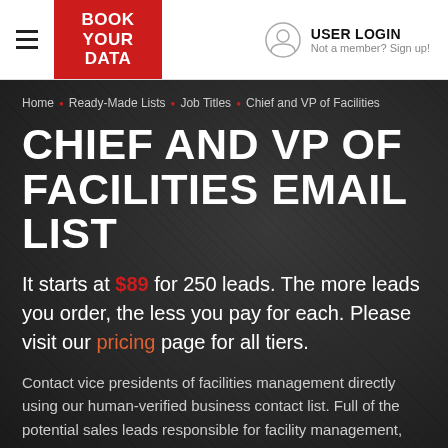BOOK YOUR DATA | USER LOGIN - Not a member? Sign up!
Home · Ready-Made Lists · Job Titles · Chief and VP of Facilities
CHIEF AND VP OF FACILITIES EMAIL LIST
It starts at $89 for 250 leads. The more leads you order, the less you pay for each. Please visit our pricing page for all tiers.
Contact vice presidents of facilities management directly using our human-verified business contact list. Full of the potential sales leads responsible for facility management,